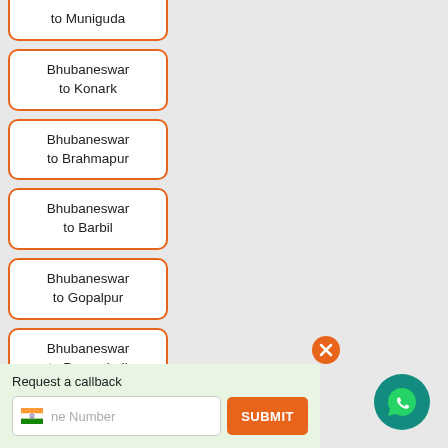to Muniguda
Bhubaneswar to Konark
Bhubaneswar to Brahmapur
Bhubaneswar to Barbil
Bhubaneswar to Gopalpur
Bhubaneswar to Damanjodi
Request a callback
Phone Number
SUBMIT